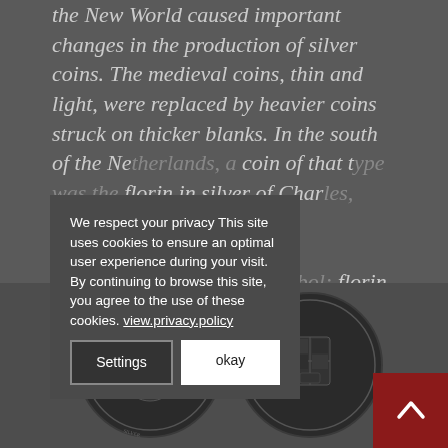the New World caused important changes in the production of silver coins. The medieval coins, thin and light, were replaced by heavier coins struck on thicker blanks. In the south of the Netherlands, a coin of that type was the florin in silver of Charles, named florin Karolus », struck in 10 for the gold coins considered as the symbol: florin and coins inspired at the traditional tradition. During the reign of Philip II, the portrait of the sovereign appeared on his coins.
We respect your privacy This site uses cookies to ensure an optimal user experience during your visit. By continuing to browse this site, you agree to the use of these cookies. view.privacy.policy
[Figure (photo): Two historical silver coins (thalers/florins), dark metallic, circular, showing portraits and heraldic designs]